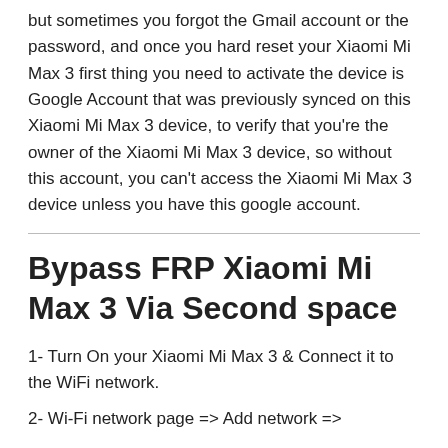but sometimes you forgot the Gmail account or the password, and once you hard reset your Xiaomi Mi Max 3 first thing you need to activate the device is Google Account that was previously synced on this Xiaomi Mi Max 3 device, to verify that you're the owner of the Xiaomi Mi Max 3 device, so without this account, you can't access the Xiaomi Mi Max 3 device unless you have this google account.
Bypass FRP Xiaomi Mi Max 3 Via Second space
1- Turn On your Xiaomi Mi Max 3 & Connect it to the WiFi network.
2- Wi-Fi network page => Add network =>